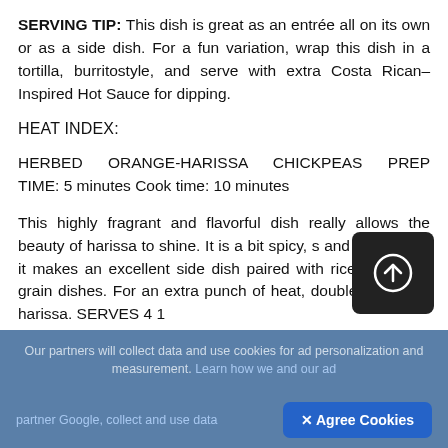SERVING TIP: This dish is great as an entrée all on its own or as a side dish. For a fun variation, wrap this dish in a tortilla, burritostyle, and serve with extra Costa Rican–Inspired Hot Sauce for dipping.
HEAT INDEX:
HERBED ORANGE-HARISSA CHICKPEAS PREP TIME: 5 minutes Cook time: 10 minutes
This highly fragrant and flavorful dish really allows the beauty of harissa to shine. It is a bit spicy, s and sweet, and it makes an excellent side dish paired with rice and other grain dishes. For an extra punch of heat, double up on the harissa. SERVES 4 1
Our partners will collect data and use cookies for ad personalization and measurement. Learn how we and our ad partner Google, collect and use data